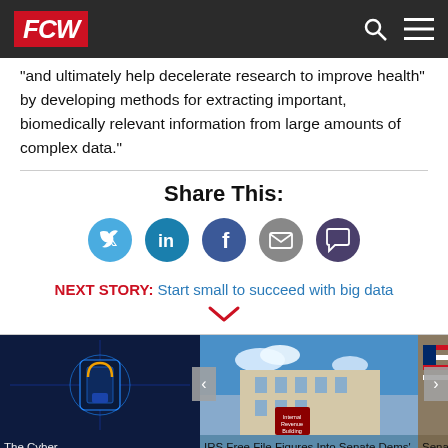FCW
"and ultimately help decelerate research to improve health" by developing methods for extracting important, biomedically relevant information from large amounts of complex data."
Share This:
[Figure (infographic): Social share buttons: Twitter (blue), LinkedIn (teal), Facebook (dark blue), Email (gray), Comment (dark purple)]
NEXT STORY: Start small to succeed with big data
[Figure (photo): Thumbnail image of a digital padlock circuit board - The Cyber [story]]
[Figure (photo): Thumbnail image of IRS building - IRS Free File Figures Into Senate Dems']
[Figure (photo): Thumbnail image of American flag and podium - Senate Appropria[tions]]